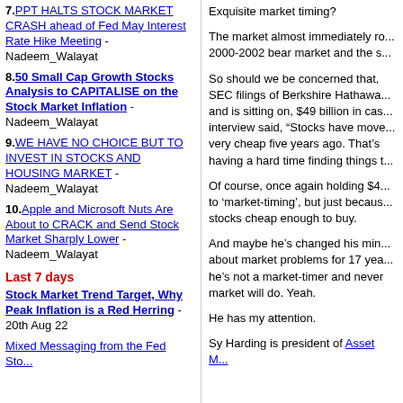7. PPT HALTS STOCK MARKET CRASH ahead of Fed May Interest Rate Hike Meeting - Nadeem_Walayat
8. 50 Small Cap Growth Stocks Analysis to CAPITALISE on the Stock Market Inflation - Nadeem_Walayat
9. WE HAVE NO CHOICE BUT TO INVEST IN STOCKS AND HOUSING MARKET - Nadeem_Walayat
10. Apple and Microsoft Nuts Are About to CRACK and Send Stock Market Sharply Lower - Nadeem_Walayat
Last 7 days
Stock Market Trend Target, Why Peak Inflation is a Red Herring - 20th Aug 22
Mixed Messaging from the Fed Sto...
Exquisite market timing?
The market almost immediately ro... 2000-2002 bear market and the s...
So should we be concerned that, SEC filings of Berkshire Hathawa... and is sitting on, $49 billion in cas... interview said, "Stocks have move... very cheap five years ago. That's having a hard time finding things t...
Of course, once again holding $4... to 'market-timing', but just becaus... stocks cheap enough to buy.
And maybe he's changed his min... about market problems for 17 yea... he's not a market-timer and never market will do. Yeah.
He has my attention.
Sy Harding is president of Asset M...